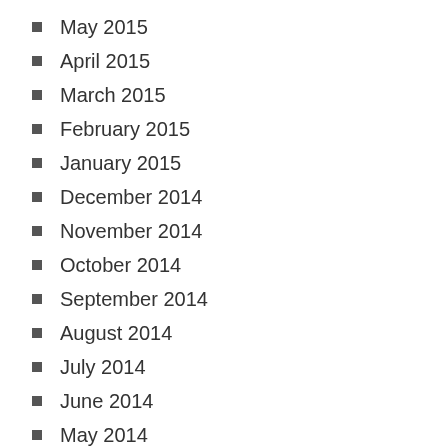May 2015
April 2015
March 2015
February 2015
January 2015
December 2014
November 2014
October 2014
September 2014
August 2014
July 2014
June 2014
May 2014
April 2014
March 2014
February 2014
January 2014